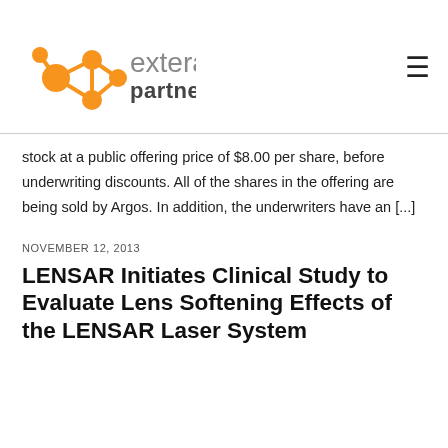[Figure (logo): Extera Partners logo — orange network/molecule icon with connected nodes and lines, next to gray text 'extera partners']
stock at a public offering price of $8.00 per share, before underwriting discounts. All of the shares in the offering are being sold by Argos. In addition, the underwriters have an [...]
NOVEMBER 12, 2013
LENSAR Initiates Clinical Study to Evaluate Lens Softening Effects of the LENSAR Laser System